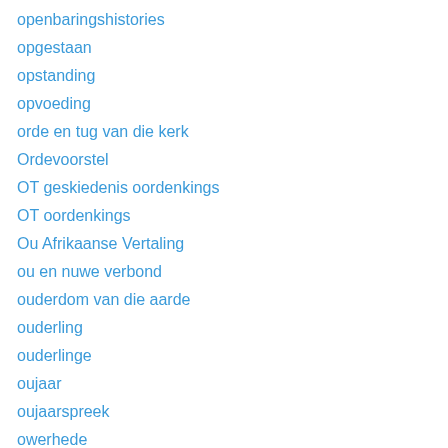openbaringshistories
opgestaan
opstanding
opvoeding
orde en tug van die kerk
Ordevoorstel
OT geskiedenis oordenkings
OT oordenkings
Ou Afrikaanse Vertaling
ou en nuwe verbond
ouderdom van die aarde
ouderling
ouderlinge
oujaar
oujaarspreek
owerhede
Pa Tobie Le Cornu
pactum institute
paganisme
panenteïsme